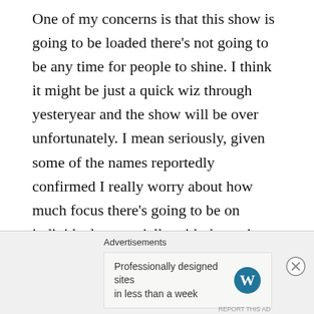One of my concerns is that this show is going to be loaded there's not going to be any time for people to shine. I think it might be just a quick wiz through yesteryear and the show will be over unfortunately. I mean seriously, given some of the names reportedly confirmed I really worry about how much focus there's going to be on individuals, especially with the major storylines still rumbling on alongside the showing of legends. I'm also hoping for the IC and US championship's to be given a prominent place on the show. Do SOMETHING with the titles! With both titles tied up for the last PPV, what better opportunity would there be to have title matches, with hopefully Santino
Advertisements
Professionally designed sites in less than a week